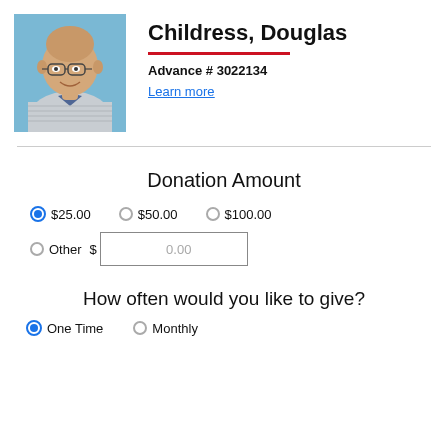[Figure (photo): Headshot of Douglas Childress, a bald man wearing glasses and a striped polo shirt, smiling outdoors with a blue sky background.]
Childress, Douglas
Advance # 3022134
Learn more
Donation Amount
$25.00 (selected)
$50.00
$100.00
Other $ 0.00
How often would you like to give?
One Time
Monthly